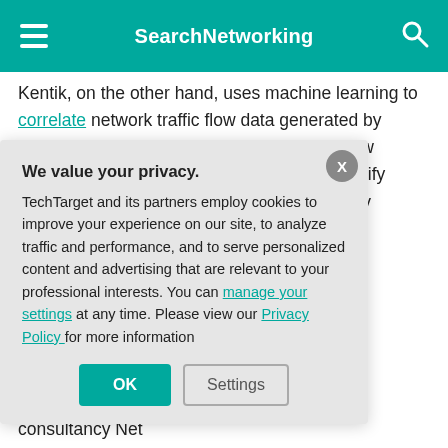SearchNetworking
Kentik, on the other hand, uses machine learning to correlate network traffic flow data generated by switches and routers that support the NetFlow protocol, Slattery said. The process can identify sources of malware or other potential security threats.
Moogsoft and Ke... specific features... deploy it in broa... likely require sig... infrastructure.
Today, companie... monitoring and m... scale. After that,... network, said Ja... consultancy Net...
We value your privacy.
TechTarget and its partners employ cookies to improve your experience on our site, to analyze traffic and performance, and to serve personalized content and advertising that are relevant to your professional interests. You can manage your settings at any time. Please view our Privacy Policy for more information